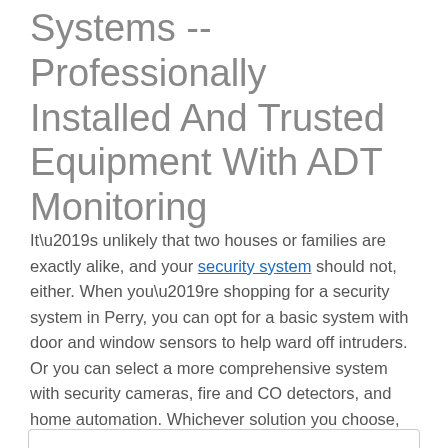Systems -- Professionally Installed And Trusted Equipment With ADT Monitoring
It’s unlikely that two houses or families are exactly alike, and your security system should not, either. When you’re shopping for a security system in Perry, you can opt for a basic system with door and window sensors to help ward off intruders. Or you can select a more comprehensive system with security cameras, fire and CO detectors, and home automation. Whichever solution you choose, you’ll have best-in-class monitoring with ADT.